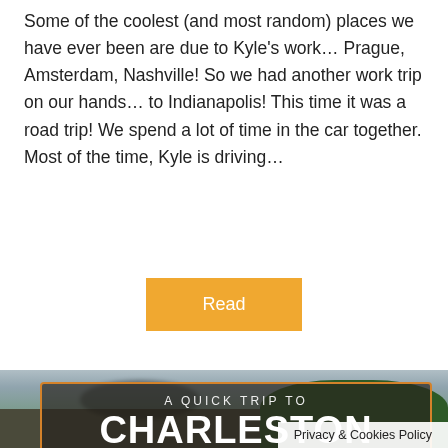Some of the coolest (and most random) places we have ever been are due to Kyle's work… Prague, Amsterdam, Nashville! So we had another work trip on our hands… to Indianapolis! This time it was a road trip! We spend a lot of time in the car together. Most of the time, Kyle is driving…
Read
[Figure (photo): Outdoor scene with trees and sky in background, people visible at bottom. Overlaid with a dark semi-transparent box with orange border containing text 'A QUICK TRIP TO CHARLESTON SOUTH CAROLINA'. Privacy & Cookies Policy bar at bottom right.]